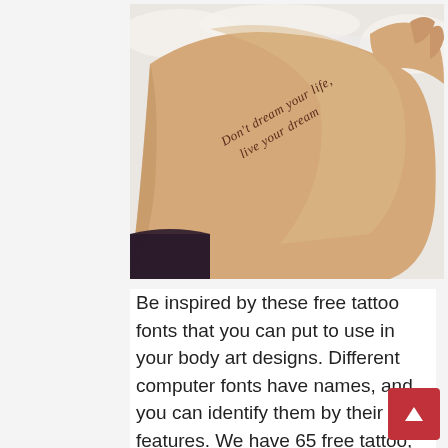[Figure (photo): Close-up photo of a person's wrist/forearm resting on white fluffy fabric, with a cursive tattoo reading 'Don't dream your life, live your dream']
Be inspired by these free tattoo fonts that you can put to use in your body art designs. Different computer fonts have names, and you can identify them by their features. We have 65 free tattoo, modern fonts to offer for direct downloading · 1001 fonts is your favorite site for free fonts since 2001. Different t...